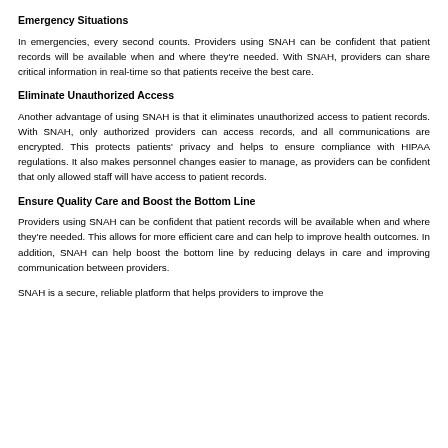Emergency Situations
In emergencies, every second counts. Providers using SNAH can be confident that patient records will be available when and where they're needed. With SNAH, providers can share critical information in real-time so that patients receive the best care.
Eliminate Unauthorized Access
Another advantage of using SNAH is that it eliminates unauthorized access to patient records. With SNAH, only authorized providers can access records, and all communications are encrypted. This protects patients' privacy and helps to ensure compliance with HIPAA regulations. It also makes personnel changes easier to manage, as providers can be confident that only allowed staff will have access to patient records.
Ensure Quality Care and Boost the Bottom Line
Providers using SNAH can be confident that patient records will be available when and where they're needed. This allows for more efficient care and can help to improve health outcomes. In addition, SNAH can help boost the bottom line by reducing delays in care and improving communication between providers.
SNAH is a secure, reliable platform that helps providers to improve the